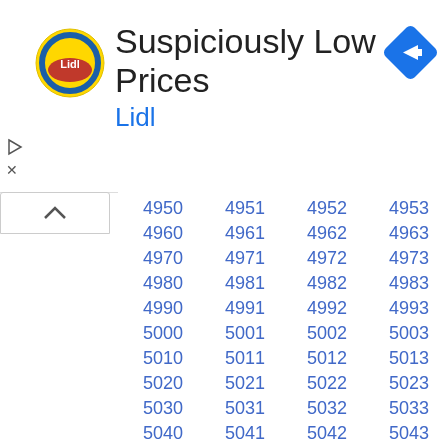[Figure (logo): Advertisement banner: Lidl logo with text 'Suspiciously Low Prices' and 'Lidl', plus a navigation arrow icon]
| 4950 | 4951 | 4952 | 4953 | 4954 | 4955 | 4956 | 4957 | 4958 | 4959 |
| 4960 | 4961 | 4962 | 4963 | 4964 | 4965 | 4966 | 4967 | 4968 | 4969 |
| 4970 | 4971 | 4972 | 4973 | 4974 | 4975 | 4976 | 4977 | 4978 | 4979 |
| 4980 | 4981 | 4982 | 4983 | 4984 | 4985 | 4986 | 4987 | 4988 | 4989 |
| 4990 | 4991 | 4992 | 4993 | 4994 | 4995 | 4996 | 4997 | 4998 | 4999 |
| 5000 | 5001 | 5002 | 5003 | 5004 | 5005 | 5006 | 5007 | 5008 | 5009 |
| 5010 | 5011 | 5012 | 5013 | 5014 | 5015 | 5016 | 5017 | 5018 | 5019 |
| 5020 | 5021 | 5022 | 5023 | 5024 | 5025 | 5026 | 5027 | 5028 | 5029 |
| 5030 | 5031 | 5032 | 5033 | 5034 | 5035 | 5036 | 5037 | 5038 | 5039 |
| 5040 | 5041 | 5042 | 5043 | 5044 | 5045 | 5046 | 5047 | 5048 | 5049 |
| 5050 | 5051 | 5052 | 5053 | 5054 | 5055 | 5056 | 5057 | 5058 | 5059 |
| 5060 | 5061 | 5062 | 5063 | 5064 | 5065 | 5066 | 5067 | 5068 | 5069 |
| 5070 | 5071 | 5072 | 5073 | 5074 | 5075 | 5076 | 5077 | 5078 | 5079 |
| 5080 | 5081 | 5082 | 5083 | 5084 | 5085 | 5086 | 5087 | 5088 | 5089 |
| 5090 | 5091 | 5092 | 5093 | 5094 | 5095 | 5096 | 5097 | 5098 | 5099 |
| 5100 | 5101 | 5102 | 5103 | 5104 | 5105 | 5106 | 5107 | 5108 | 5109 |
| 5110 | 5111 | 5112 | 5113 | 5114 | 5115 | 5116 | 5117 | 5118 | 5119 |
| 5120 | 5121 | 5122 | 5123 | 5124 | 5125 | 5126 | 5127 | 5128 | 5129 |